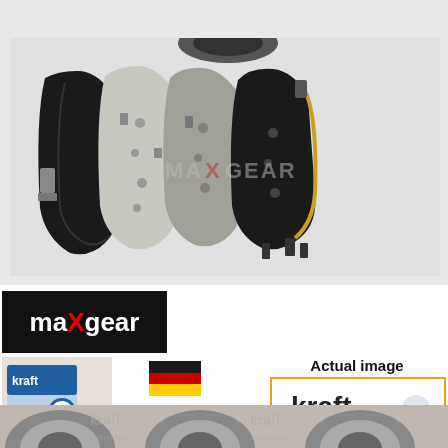[Figure (photo): Photo of four brake shoe components arranged side by side on a white surface, with a faint gear watermark and MAXGEAR text watermark visible in the background. A small circular brake component is partially visible at the very top.]
[Figure (logo): maXgear brand logo — white text on black background with red capital X]
[Figure (photo): Kraft automotive product packaging box photo]
[Figure (illustration): German flag illustration with text 'German Technology' below]
Actual image
[Figure (logo): kraft automotive logo inside orange-bordered box]
[Figure (photo): Bottom strip showing partial brake drum/disc components and kraft automotive watermarks]